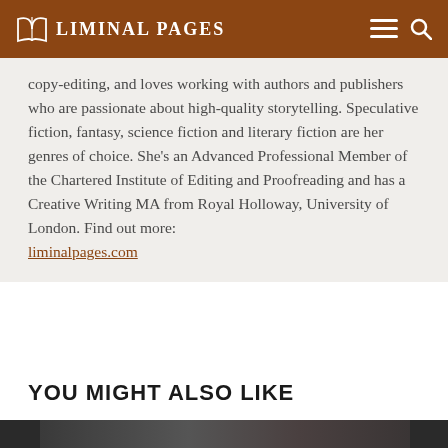LIMINAL PAGES
copy-editing, and loves working with authors and publishers who are passionate about high-quality storytelling. Speculative fiction, fantasy, science fiction and literary fiction are her genres of choice. She's an Advanced Professional Member of the Chartered Institute of Editing and Proofreading and has a Creative Writing MA from Royal Holloway, University of London. Find out more: liminalpages.com
YOU MIGHT ALSO LIKE
[Figure (photo): Dark photograph showing a person at a desk near a window, partially visible at the bottom of the page]